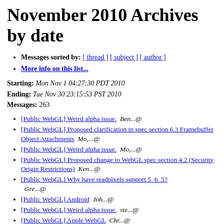November 2010 Archives by date
Messages sorted by: [ thread ] [ subject ] [ author ]
More info on this list...
Starting: Mon Nov 1 04:27:30 PDT 2010
Ending: Tue Nov 30 23:15:53 PST 2010
Messages: 263
[Public WebGL] Weird alpha issue.  Ben...@
[Public WebGL] Proposed clarification in spec section 6.3 Framebuffer Object Attachments  Mo,...@
[Public WebGL] Weird alpha issue.  Mo,...@
[Public WebGL] Proposed change to WebGL spec section 4.2 (Security Origin Restrictions)  Ken...@
[Public WebGL] Why have readpixels support 5_6_5?  Gre...@
[Public WebGL] Android  Joh...@
[Public WebGL] Weird alpha issue.  ste...@
[Public WebGL] Apple WebGL  Chr...@
[Public WebGL] Weird alpha issue.  Mo,...@
[Public WebGL] Why have readpixels support 5_6_5?